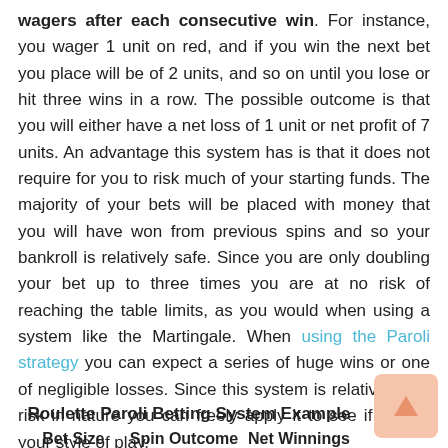wagers after each consecutive win. For instance, you wager 1 unit on red, and if you win the next bet you place will be of 2 units, and so on until you lose or hit three wins in a row. The possible outcome is that you will either have a net loss of 1 unit or net profit of 7 units. An advantage this system has is that it does not require for you to risk much of your starting funds. The majority of your bets will be placed with money that you will have won from previous spins and so your bankroll is relatively safe. Since you are only doubling your bet up to three times you are at no risk of reaching the table limits, as you would when using a system like the Martingale. When using the Paroli strategy you can expect a series of huge wins or one of negligible losses. Since this system is relatively low risk in nature you can freely apply it to see if it suits your style of play.
Roulette Paroli Betting System Example
| Bet Size | Spin Outcome | Net Winnings |
| --- | --- | --- |